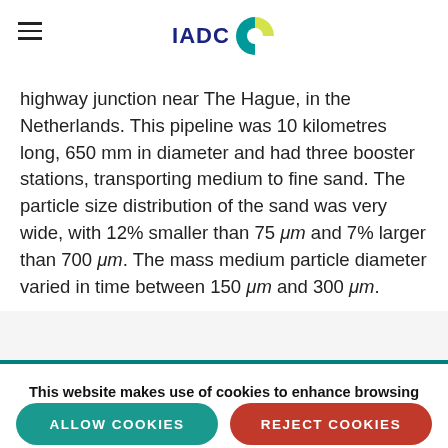IADC
highway junction near The Hague, in the Netherlands. This pipeline was 10 kilometres long, 650 mm in diameter and had three booster stations, transporting medium to fine sand. The particle size distribution of the sand was very wide, with 12% smaller than 75 μm and 7% larger than 700 μm. The mass medium particle diameter varied in time between 150 μm and 300 μm.
This website makes use of cookies to enhance browsing experience and provide additional functionality.
Privacy policy
ALLOW COOKIES  REJECT COOKIES